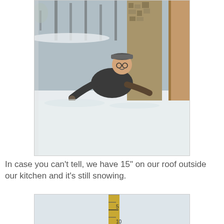[Figure (photo): Photo taken from inside through a sliding glass door showing a man on a snow-covered roof/deck outside, smiling and holding something (possibly measuring the snow depth). Heavy snow is visible everywhere, with a stone pillar and wooden railing in the background. The snow appears very deep.]
In case you can't tell, we have 15" on our roof outside our kitchen and it's still snowing.
[Figure (photo): Photo of a ruler/measuring stick inserted vertically into deep snow, showing the snow depth measurement. The ruler shows markings and the snow surface is visible around the base.]